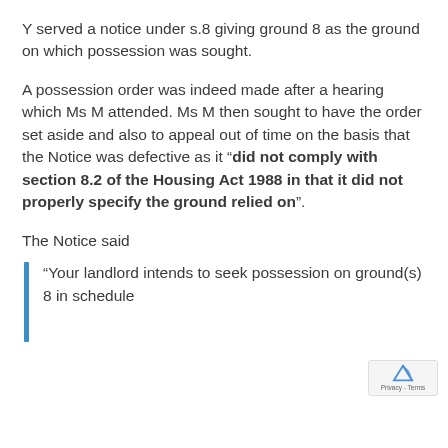Y served a notice under s.8 giving ground 8 as the ground on which possession was sought.
A possession order was indeed made after a hearing which Ms M attended. Ms M then sought to have the order set aside and also to appeal out of time on the basis that the Notice was defective as it “did not comply with section 8.2 of the Housing Act 1988 in that it did not properly specify the ground relied on”.
The Notice said
“Your landlord intends to seek possession on ground(s) 8 in schedule to the Housing Act 1988 as amended by